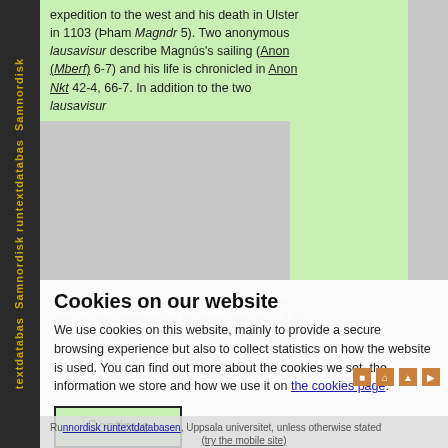Magnus's 1098/4. expedition to the west and his death in Ulster in 1103 (Þham Magndr 5). Two anonymous lausavisur describe Magnús's sailing (Anon (Mberf) 6-7) and his life is chronicled in Anon Nkt 42-4, 66-7. In addition to the two lausavisur
Cookies on our website
We use cookies on this website, mainly to provide a secure browsing experience but also to collect statistics on how the website is used. You can find out more about the cookies we set, the information we store and how we use it on the cookies page.
Continue
Runnordisk runtextdatabasen, Uppsala universitet, unless otherwise stated
(try the mobile site)